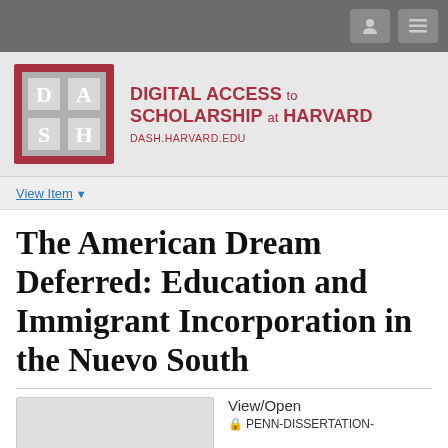[Figure (logo): DASH - Digital Access to Scholarship at Harvard logo with red border, grey squares containing D, A, S, H letters]
DIGITAL ACCESS TO SCHOLARSHIP AT HARVARD
DASH.HARVARD.EDU
View Item
The American Dream Deferred: Education and Immigrant Incorporation in the Nuevo South
View/Open
PENN-DISSERTATION-